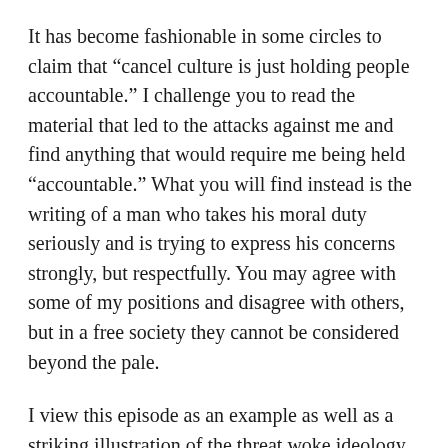It has become fashionable in some circles to claim that “cancel culture is just holding people accountable.” I challenge you to read the material that led to the attacks against me and find anything that would require me being held “accountable.” What you will find instead is the writing of a man who takes his moral duty seriously and is trying to express his concerns strongly, but respectfully. You may agree with some of my positions and disagree with others, but in a free society they cannot be considered beyond the pale.
I view this episode as an example as well as a striking illustration of the threat woke ideology poses to our culture, our institutions and to our freedoms. I have consistently maintained that woke ideology is essentially totalitarian in nature: it attempts to corral the entirety of human existence into one narrow…